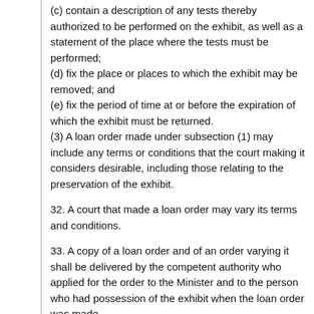(c) contain a description of any tests thereby authorized to be performed on the exhibit, as well as a statement of the place where the tests must be performed;
(d) fix the place or places to which the exhibit may be removed; and
(e) fix the period of time at or before the expiration of which the exhibit must be returned.
(3) A loan order made under subsection (1) may include any terms or conditions that the court making it considers desirable, including those relating to the preservation of the exhibit.
32. A court that made a loan order may vary its terms and conditions.
33. A copy of a loan order and of an order varying it shall be delivered by the competent authority who applied for the order to the Minister and to the person who had possession of the exhibit when the loan order was made.
34. The burden of proving that an exhibit lent to a